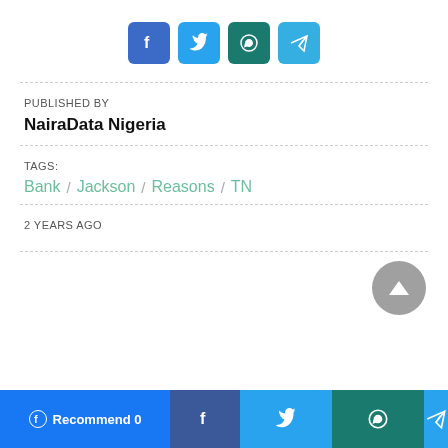[Figure (infographic): Social share icons row: Facebook (blue), Twitter (light blue), WhatsApp (dark teal), Telegram (blue)]
PUBLISHED BY
NairaData Nigeria
TAGS:
Bank / Jackson / Reasons / TN
2 YEARS AGO
[Figure (other): Scroll-to-top button: gray circle with upward triangle arrow]
Recommend 0 | Facebook share | Twitter share | WhatsApp share | Telegram share